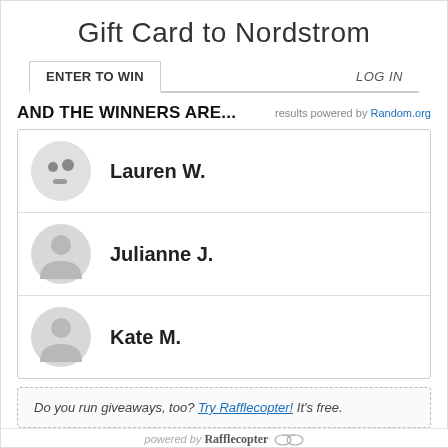Gift Card to Nordstrom
ENTER TO WIN
LOG IN
AND THE WINNERS ARE...
results powered by Random.org
Lauren W.
Julianne J.
Kate M.
Do you run giveaways, too? Try Rafflecopter! It's free.
Terms and Conditions
powered by Rafflecopter